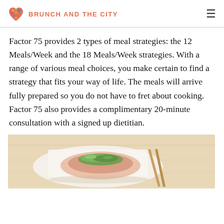BRUNCH AND THE CITY
Factor 75 provides 2 types of meal strategies: the 12 Meals/Week and the 18 Meals/Week strategies. With a range of various meal choices, you make certain to find a strategy that fits your way of life. The meals will arrive fully prepared so you do not have to fret about cooking. Factor 75 also provides a complimentary 20-minute consultation with a signed up dietitian.
[Figure (photo): A plated meal with greens/microgreens on top of what appears to be protein, with chopsticks resting on the plate, on a light wooden surface.]